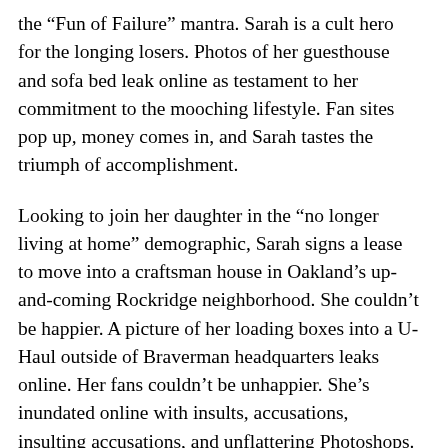the “Fun of Failure” mantra. Sarah is a cult hero for the longing losers. Photos of her guesthouse and sofa bed leak online as testament to her commitment to the mooching lifestyle. Fan sites pop up, money comes in, and Sarah tastes the triumph of accomplishment.
Looking to join her daughter in the “no longer living at home” demographic, Sarah signs a lease to move into a craftsman house in Oakland’s up-and-coming Rockridge neighborhood. She couldn’t be happier. A picture of her loading boxes into a U-Haul outside of Braverman headquarters leaks online. Her fans couldn’t be unhappier. She’s inundated online with insults, accusations, insulting accusations, and unflattering Photoshops. Distraught, surrounded by unpacked boxes in her new home, she cranks up the music, cracks open some wine, and cries her eyes out while signing to herself, “Because I’m a total